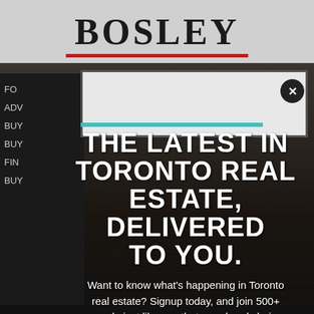[Figure (screenshot): Screenshot of Bosley Real Estate website with a popup modal overlay showing a newsletter signup. Background shows a dark brick building. The Bosley logo appears at top in dark serif font with a red underline. A popup modal shows large white bold text and a description. A teal accent bar and close button (x) are visible on the popup.]
THE LATEST IN TORONTO REAL ESTATE, DELIVERED TO YOU.
Want to know what's happening in Toronto real estate? Signup today, and join 500+ people just like you that are already being kept up to date.